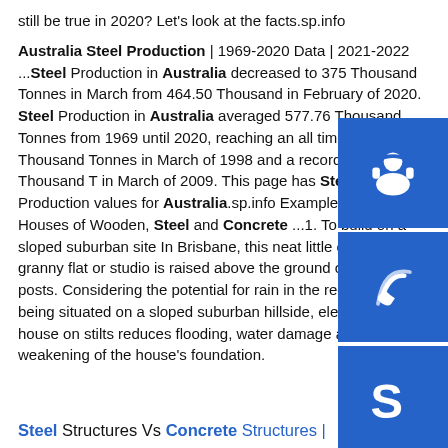still be true in 2020? Let's look at the facts.sp.info Australia Steel Production | 1969-2020 Data | 2021-2022 ...Steel Production in Australia decreased to 375 Thousand Tonnes in March from 464.50 Thousand in February of 2020. Steel Production in Australia averaged 577.76 Thousand Tonnes from 1969 until 2020, reaching an all time high of 819 Thousand Tonnes in March of 1998 and a record low of 238 Thousand Tonnes in March of 2009. This page has Steel Production values for Australia.sp.info Examples of 10 Stilt Houses of Wooden, Steel and Concrete ...1. To build on a sloped suburban site In Brisbane, this neat little one-bedroom granny flat or studio is raised above the ground on steel posts. Considering the potential for rain in the region, and being situated on a sloped suburban hillside, elevating the house on stilts reduces flooding, water damage and weakening of the house's foundation.
Steel Structures Vs Concrete Structures |